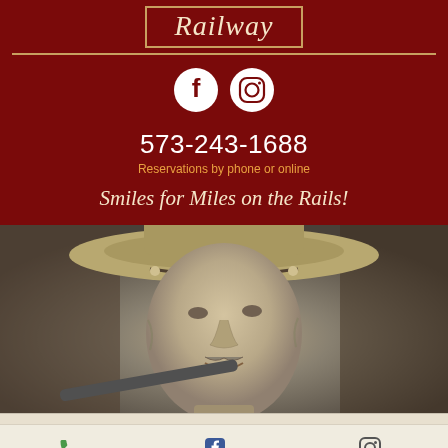Railway
[Figure (logo): Facebook and Instagram social media icons (white circles) on dark red background]
573-243-1688
Reservations by phone or online
Smiles for Miles on the Rails!
[Figure (photo): Black and white sepia-toned close-up portrait of a man wearing a wide-brim cowboy hat with chin strap, with a mustache, holding what appears to be a gun]
Phone
Facebook
Instagram